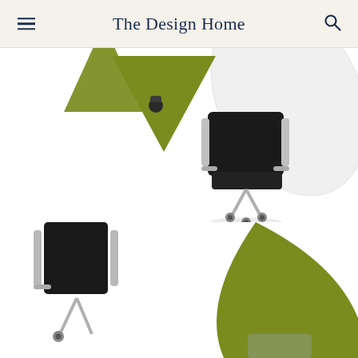The Design Home
[Figure (photo): Top view of a black office chair with chrome frame and casters on a white background, with a green triangular design element on the left and a large white rounded surface on the right, all arranged at an angle]
[Figure (photo): Bottom portion showing a close-up of a black office chair with chrome legs on the left, and a large green triangular/curved shape on the right, on a white background]